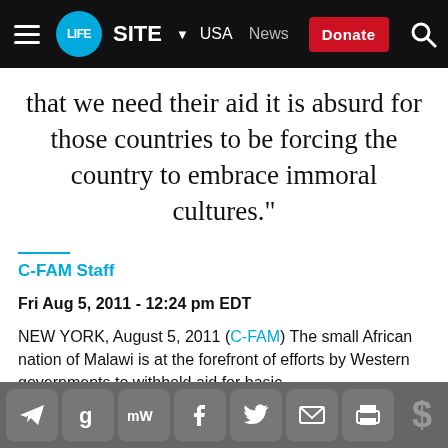LIFESITE | USA | News | Donate
that we need their aid it is absurd for those countries to be forcing the country to embrace immoral cultures."
C-FAM Staff
Fri Aug 5, 2011 - 12:24 pm EDT
NEW YORK, August 5, 2011 (C-FAM) The small African nation of Malawi is at the forefront of efforts by Western governments to withhold aid for basic